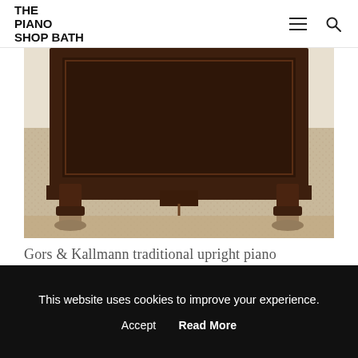THE PIANO SHOP BATH
[Figure (photo): Close-up photo of the lower portion of a dark mahogany traditional upright piano sitting on a beige woven carpet, showing the decorative carved legs and bottom panel.]
Gors & Kallmann traditional upright piano
[Figure (photo): Partial view of a second piano product card with a dark grey circular SOLD badge overlaid on a grey background.]
This website uses cookies to improve your experience.
Accept   Read More